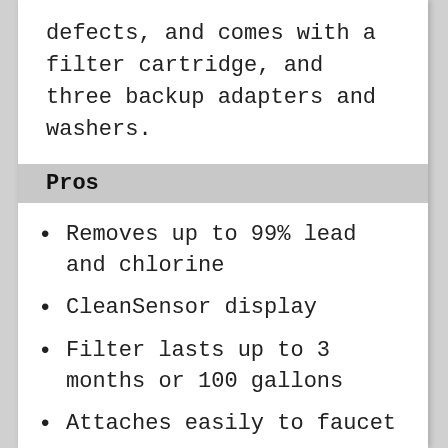defects, and comes with a filter cartridge, and three backup adapters and washers.
Pros
Removes up to 99% lead and chlorine
CleanSensor display
Filter lasts up to 3 months or 100 gallons
Attaches easily to faucet
2-year manufacturer warranty